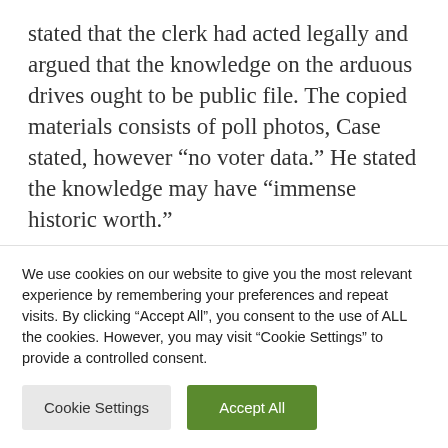stated that the clerk had acted legally and argued that the knowledge on the arduous drives ought to be public file. The copied materials consists of poll photos, Case stated, however “no voter data.” He stated the knowledge may have “immense historic worth.”
“Dallas Schroeder violated no regulation or election rule,” he stated within the assertion
We use cookies on our website to give you the most relevant experience by remembering your preferences and repeat visits. By clicking “Accept All”, you consent to the use of ALL the cookies. However, you may visit “Cookie Settings” to provide a controlled consent.